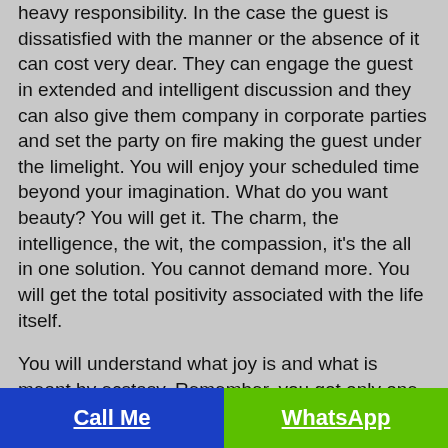heavy responsibility. In the case the guest is dissatisfied with the manner or the absence of it can cost very dear. They can engage the guest in extended and intelligent discussion and they can also give them company in corporate parties and set the party on fire making the guest under the limelight. You will enjoy your scheduled time beyond your imagination. What do you want beauty? You will get it. The charm, the intelligence, the wit, the compassion, it's the all in one solution. You cannot demand more. You will get the total positivity associated with the life itself.

You will understand what joy is and what is meant by ecstasy. Remember, you got only one chance to live, live a regal life. The Call Girls in Jagdeo Path will do the job of life saver and give you back the old confident self. It will be reincarnation for you. You may need help from the escorts to make your newly launched product success. If you need their service to take care of your corporate guests, engage the Call Girls in Jagdeo Path. They will make the engagement a grand success. The wit and intelligence will
Call Me | WhatsApp